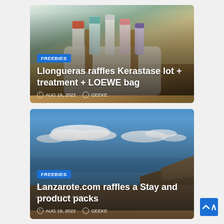[Figure (photo): Hair care products (Kerastase bottles/tubes) arranged in a woven bag with brown leather straps, on a white/neutral background. A dark circular logo is visible top-right.]
FREEBIES
Llongueras raffles Kerastase lot + treatment + LOEWE bag
AUG 19, 2022  GEEKE
[Figure (photo): Scenic coastal landscape of Lanzarote with blue sky, white clouds, blue sea, and rocky brown cliffs/hills. Watermarks read SORTEO and LANZAROTE.COM.]
FREEBIES
Lanzarote.com raffles a Stay and product packs
AUG 19, 2022  GEEKE